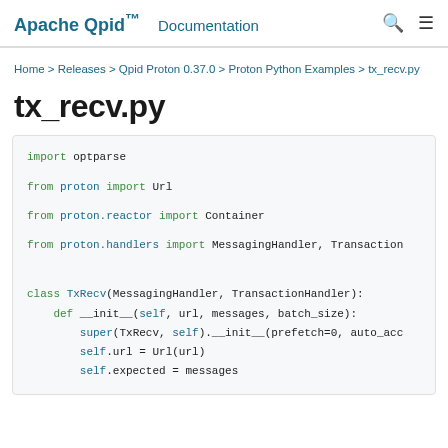Apache Qpid™  Documentation
Home > Releases > Qpid Proton 0.37.0 > Proton Python Examples > tx_recv.py
tx_recv.py
import optparse
from proton import Url
from proton.reactor import Container
from proton.handlers import MessagingHandler, Transaction


class TxRecv(MessagingHandler, TransactionHandler):
    def __init__(self, url, messages, batch_size):
        super(TxRecv, self).__init__(prefetch=0, auto_acc
        self.url = Url(url)
        self.expected = messages